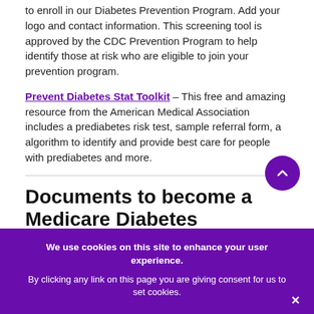to enroll in our Diabetes Prevention Program. Add your logo and contact information.  This screening tool is approved by the CDC Prevention Program to help identify those at risk who are eligible to join your prevention program.
Prevent Diabetes Stat Toolkit – This free and amazing resource from the American Medical Association includes a prediabetes risk test, sample referral form, a algorithm to identify and provide best care for people with prediabetes and more.
Documents to become a Medicare Diabetes Prevention Program Supplier
Medicare Reimbursement Application 2018- to apply for reimbursement, recognized prevention sites need to complete this application.
We use cookies on this site to enhance your user experience.

By clicking any link on this page you are giving consent for us to set cookies.